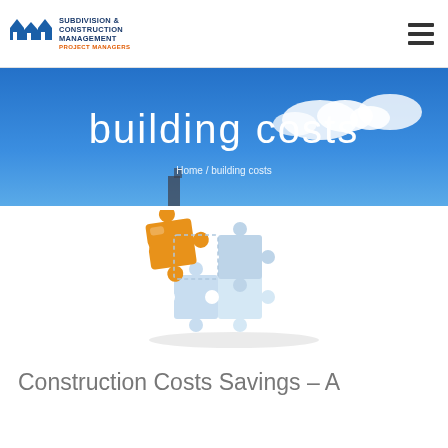SUBDIVISION & CONSTRUCTION MANAGEMENT PROJECT MANAGERS
building costs
Home / building costs
[Figure (illustration): 3D puzzle pieces illustration: one orange/gold puzzle piece lifted above a set of light blue/white interlocking puzzle pieces arranged on a flat surface]
Construction Costs Savings – A